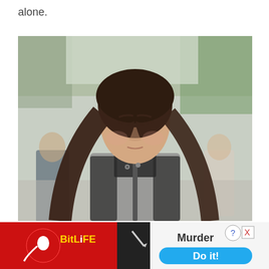alone.
[Figure (photo): A young woman with long dark hair walking outdoors with her eyes closed, wearing a grey and black leather jacket. Blurred figures and trees in the background.]
[Figure (screenshot): BitLife mobile game advertisement banner showing 'Murder' option with 'Do it!' button in blue, BitLife logo on left with red circle and sperm icon.]